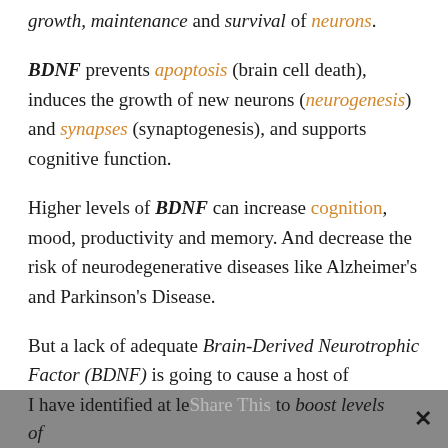growth, maintenance and survival of neurons.
BDNF prevents apoptosis (brain cell death), induces the growth of new neurons (neurogenesis) and synapses (synaptogenesis), and supports cognitive function.
Higher levels of BDNF can increase cognition, mood, productivity and memory. And decrease the risk of neurodegenerative diseases like Alzheimer's and Parkinson's Disease.
But a lack of adequate Brain-Derived Neurotrophic Factor (BDNF) is going to cause a host of problems. Including brain fog.
I have identified at least 7 ways to boost levels of